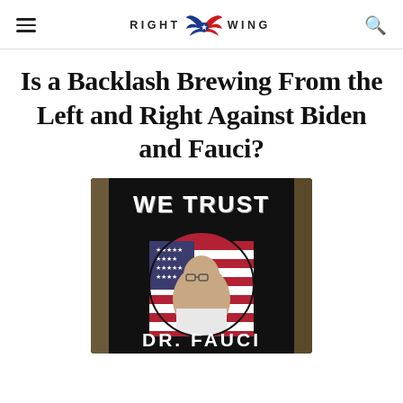RIGHT WING
Is a Backlash Brewing From the Left and Right Against Biden and Fauci?
[Figure (photo): A black yard sign reading 'WE TRUST DR. FAUCI' with a circular photo of Dr. Fauci overlaid on an American flag background, displayed outdoors.]